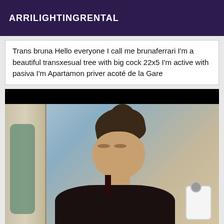ARRILIGHTINGRENTAL
Trans bruna Hello everyone I call me brunaferrari I'm a beautiful transxesual tree with big cock 22x5 I'm active with pasiva I'm Apartamon priver acoté de la Gare
[Figure (photo): Mirror selfie photo of a person with dark hair pulled up, wearing dark clothing, holding a white smartphone. Background shows a door/curtain on the left and blue-toned room. A black bar obscures the top portion of the image.]